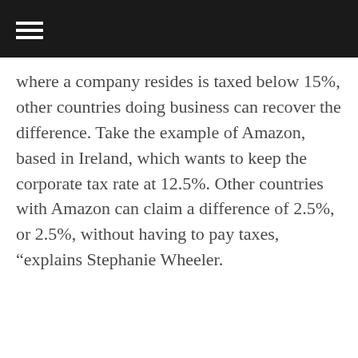where a company resides is taxed below 15%, other countries doing business can recover the difference. Take the example of Amazon, based in Ireland, which wants to keep the corporate tax rate at 12.5%. Other countries with Amazon can claim a difference of 2.5%, or 2.5%, without having to pay taxes, “explains Stephanie Wheeler.